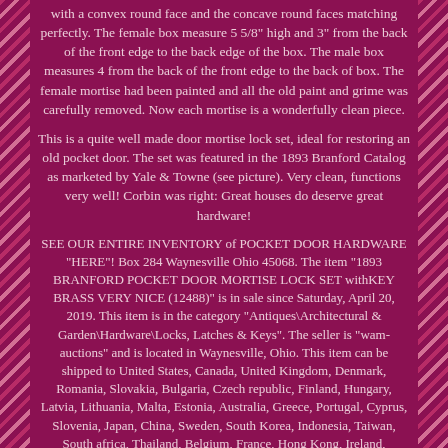with a convex round face and the concave round faces matching perfectly. The female box measure 5 5/8" high and 3" from the back of the front edge to the back edge of the box. The male box measures 4 from the back of the front edge to the back of box. The female mortise had been painted and all the old paint and grime was carefully removed. Now each mortise is a wonderfully clean piece.
This is a quite well made door mortise lock set, ideal for restoring an old pocket door. The set was featured in the 1893 Branford Catalog as marketed by Yale & Towne (see picture). Very clean, functions very well! Corbin was right: Great houses do deserve great hardware!
SEE OUR ENTIRE INVENTORY of POCKET DOOR HARDWARE "HERE"! Box 284 Waynesville Ohio 45068. The item "1893 BRANFORD POCKET DOOR MORTISE LOCK SET withKEY BRASS VERY NICE (12488)" is in sale since Saturday, April 20, 2019. This item is in the category "Antiques\Architectural & Garden\Hardware\Locks, Latches & Keys". The seller is "wam-auctions" and is located in Waynesville, Ohio. This item can be shipped to United States, Canada, United Kingdom, Denmark, Romania, Slovakia, Bulgaria, Czech republic, Finland, Hungary, Latvia, Lithuania, Malta, Estonia, Australia, Greece, Portugal, Cyprus, Slovenia, Japan, China, Sweden, South Korea, Indonesia, Taiwan, South africa, Thailand, Belgium, France, Hong Kong, Ireland, Netherlands, Poland, Spain, Italy, Germany, Austria, Bahamas,